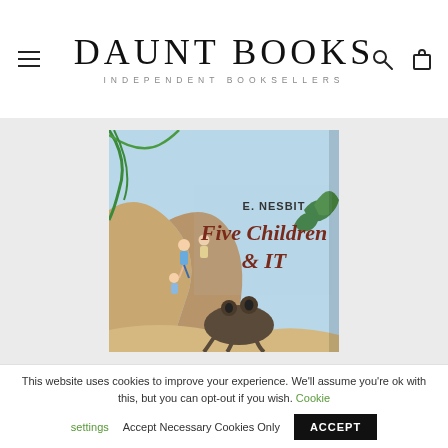DAUNT BOOKS INDEPENDENT BOOKSELLERS
[Figure (illustration): Book cover of 'Five Children & IT' by E. Nesbit, showing illustrated children climbing sandy cliffs with a creature below, palm fronds, and blue sky background.]
This website uses cookies to improve your experience. We'll assume you're ok with this, but you can opt-out if you wish. Cookie settings   Accept Necessary Cookies Only   ACCEPT